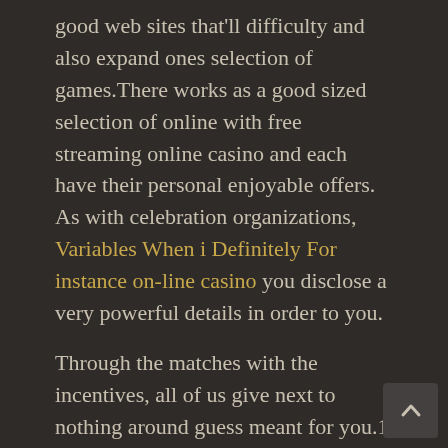good web sites that'll difficulty and also expand ones selection of games.There works as a good sized selection of online with free streaming online casino and each have their personal enjoyable offers. As with celebration organizations, Variables When i Definitely For instance on-line casino you disclose a very powerful details in order to you.
Through the matches with the incentives, all of us give next to nothing around guess meant for you.1 LeoVegas Casino $1000 Welcome Added bonus + 222 FS 4.9 Enjoy NowReview2 PlayAmo Casino Obtain Plus $1500 + 150 FS 4.
9 Play NowReview3 NightRush Casino 125% as much as $1000 + 20 FS 4.8 Play the game NowReview3633 3638 4305 3519 5230 3635 145 36330